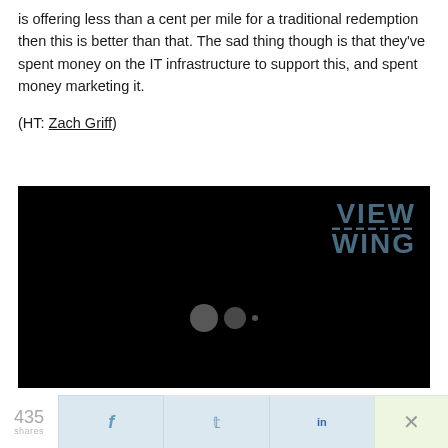is offering less than a cent per mile for a traditional redemption then this is better than that. The sad thing though is that they've spent money on the IT infrastructure to support this, and spent money marketing it.
(HT: Zach Griff)
[Figure (screenshot): Video player with black background showing VIEW WING logo in dark blue/teal in the top right corner, with media control circles visible in the center-bottom area]
435 shares | Share buttons for Facebook, Twitter, LinkedIn, and close (X)